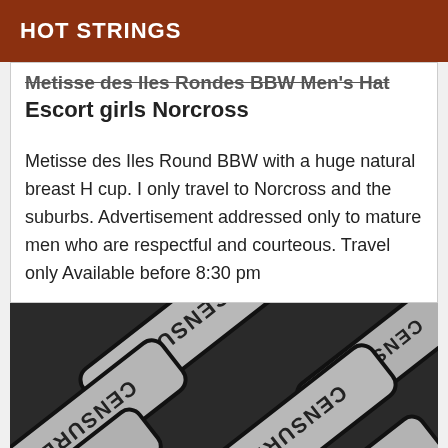HOT STRINGS
Metisse des Iles Rondes BBW Men's Hat Escort girls Norcross
Metisse des Iles Round BBW with a huge natural breast H cup. I only travel to Norcross and the suburbs. Advertisement addressed only to mature men who are respectful and courteous. Travel only Available before 8:30 pm
[Figure (photo): Censored image showing multiple overlapping grey tiles with the word CENSURE printed in black bold letters at various angles on a dark background.]